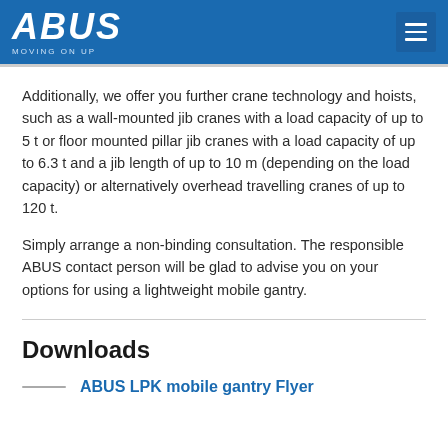ABUS MOVING ON UP
Additionally, we offer you further crane technology and hoists, such as a wall-mounted jib cranes with a load capacity of up to 5 t or floor mounted pillar jib cranes with a load capacity of up to 6.3 t and a jib length of up to 10 m (depending on the load capacity) or alternatively overhead travelling cranes of up to 120 t.
Simply arrange a non-binding consultation. The responsible ABUS contact person will be glad to advise you on your options for using a lightweight mobile gantry.
Downloads
ABUS LPK mobile gantry Flyer